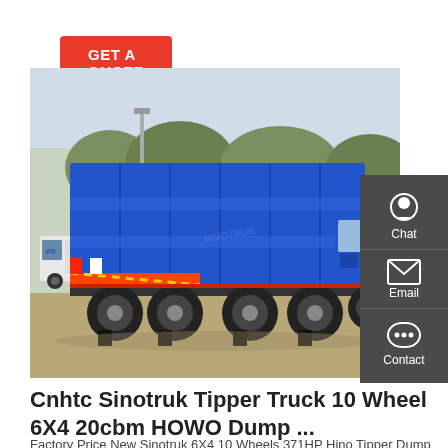GET A QUOTE
[Figure (photo): Blue HOWO dump truck / tipper truck with 10 wheels (6X4 configuration), large blue cargo bed, parked in a yard with trees and other trucks in background]
Chat
Email
Contact
Cnhtc Sinotruk Tipper Truck 10 Wheel 6X4 20cbm HOWO Dump ...
Factory Price New Sinotruk 6X4 10 Wheels 371HP Hino Tipper Dump Dump Dump Truck Heavy Truck